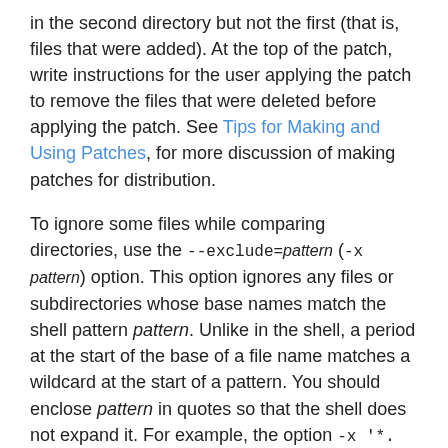in the second directory but not the first (that is, files that were added). At the top of the patch, write instructions for the user applying the patch to remove the files that were deleted before applying the patch. See Tips for Making and Using Patches, for more discussion of making patches for distribution.
To ignore some files while comparing directories, use the --exclude=pattern (-x pattern) option. This option ignores any files or subdirectories whose base names match the shell pattern pattern. Unlike in the shell, a period at the start of the base of a file name matches a wildcard at the start of a pattern. You should enclose pattern in quotes so that the shell does not expand it. For example, the option -x '*.[ao]' ignores any file whose name ends with '.a' or '.o'.
This option accumulates if you specify it more than